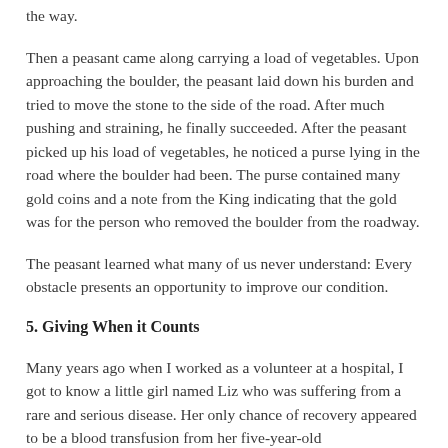the way.
Then a peasant came along carrying a load of vegetables. Upon approaching the boulder, the peasant laid down his burden and tried to move the stone to the side of the road. After much pushing and straining, he finally succeeded. After the peasant picked up his load of vegetables, he noticed a purse lying in the road where the boulder had been. The purse contained many gold coins and a note from the King indicating that the gold was for the person who removed the boulder from the roadway.
The peasant learned what many of us never understand: Every obstacle presents an opportunity to improve our condition.
5. Giving When it Counts
Many years ago when I worked as a volunteer at a hospital, I got to know a little girl named Liz who was suffering from a rare and serious disease. Her only chance of recovery appeared to be a blood transfusion from her five-year-old